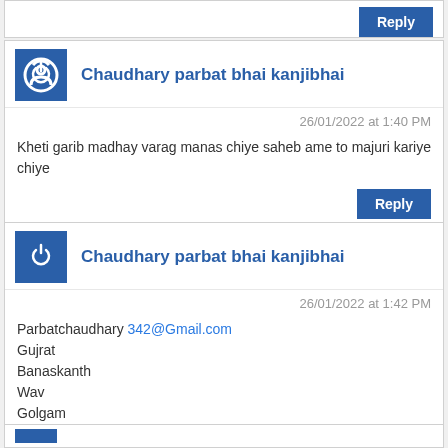Reply
Chaudhary parbat bhai kanjibhai
26/01/2022 at 1:40 PM
Kheti garib madhay varag manas chiye saheb ame to majuri kariye chiye
Reply
Chaudhary parbat bhai kanjibhai
26/01/2022 at 1:42 PM
Parbatchaudhary 342@Gmail.com
Gujrat
Banaskanth
Wav
Golgam
Reply